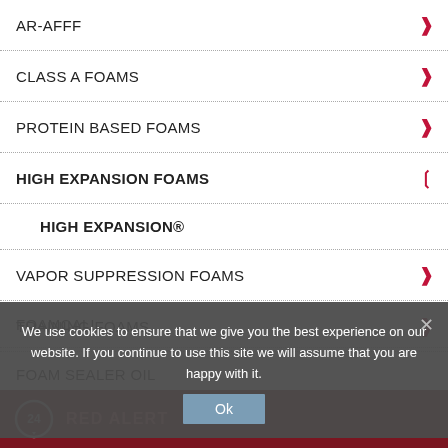AR-AFFF
CLASS A FOAMS
PROTEIN BASED FOAMS
HIGH EXPANSION FOAMS
HIGH EXPANSION®
VAPOR SUPPRESSION FOAMS
TRAINING FOAMS
FOAM SEALER OIL
SAFETY DATA SHEETS
TECHNICAL BULLETINS
FOAMCALL
We use cookies to ensure that we give you the best experience on our website. If you continue to use this site we will assume that you are happy with it.
Ok
RED ALERT